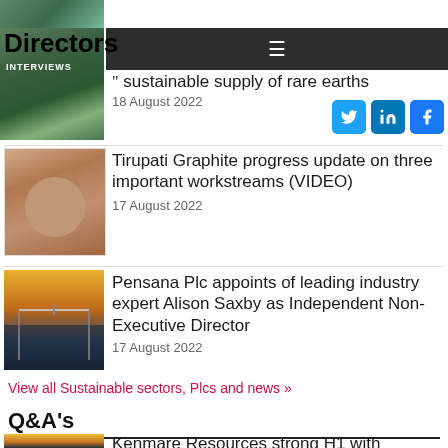Directors Talk INTERVIEWS
[Figure (screenshot): Navigation bar with hamburger menu on dark background]
sustainable supply of rare earths
18 August 2022
[Figure (photo): Person speaking - Tirupati Graphite article thumbnail]
Tirupati Graphite progress update on three important workstreams (VIDEO)
17 August 2022
[Figure (photo): Bridge over water at sunset - Pensana Plc article thumbnail]
Pensana Plc appoints of leading industry expert Alison Saxby as Independent Non-Executive Director
17 August 2022
View all Sustainable sectors, Plcs and news »
Q&A's
[Figure (photo): Thumbnail for Kenmare Resources article]
Kenmare Resources strong H1 with